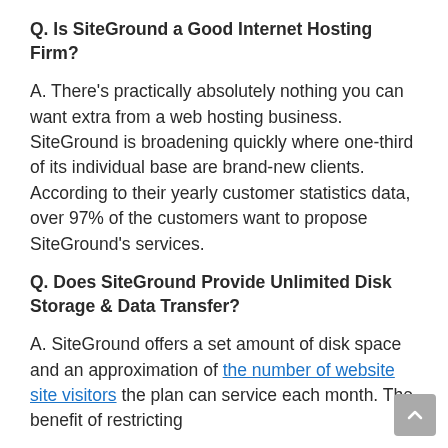Q. Is SiteGround a Good Internet Hosting Firm?
A. There’s practically absolutely nothing you can want extra from a web hosting business. SiteGround is broadening quickly where one-third of its individual base are brand-new clients. According to their yearly customer statistics data, over 97% of the customers want to propose SiteGround’s services.
Q. Does SiteGround Provide Unlimited Disk Storage & Data Transfer?
A. SiteGround offers a set amount of disk space and an approximation of the number of website site visitors the plan can service each month. The benefit of restricting